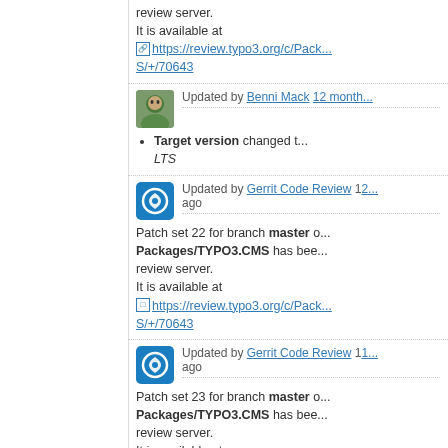review server.
It is available at
https://review.typo3.org/c/Packages/TYPO3.CMS/+/70643
Updated by Benni Mack 12 months ago
Target version changed to LTS
Updated by Gerrit Code Review 12 months ago
Patch set 22 for branch master of Packages/TYPO3.CMS has been pushed to the review server.
It is available at
https://review.typo3.org/c/Packages/TYPO3.CMS/+/70643
Updated by Gerrit Code Review 12 months ago
Patch set 23 for branch master of Packages/TYPO3.CMS has been pushed to the review server.
It is available at
https://review.typo3.org/c/Packages/TYPO3.CMS/+/70643
Updated by Gerrit Code Review